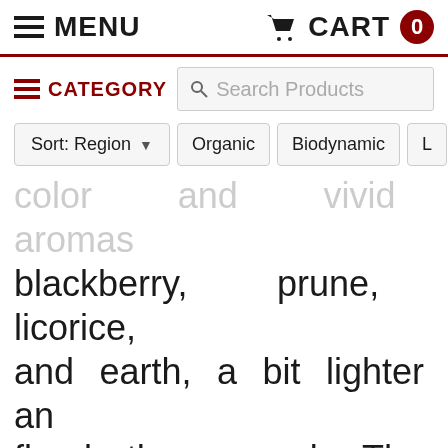MENU   CART 0
CATEGORY   Search Products
Sort: Region   Organic   Biodynamic   L
color and vivid aromas blackberry, prune, licorice, and earth, a bit lighter an floral than usual. The palate and lush with blackberry, citrus and cocoa, but very bri refreshing as well, just delic finishes with citrusy acids ar